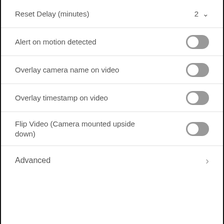Reset Delay (minutes)  2
Alert on motion detected  [toggle on]
Overlay camera name on video  [toggle on]
Overlay timestamp on video  [toggle on]
Flip Video (Camera mounted upside down)  [toggle on]
Advanced  >